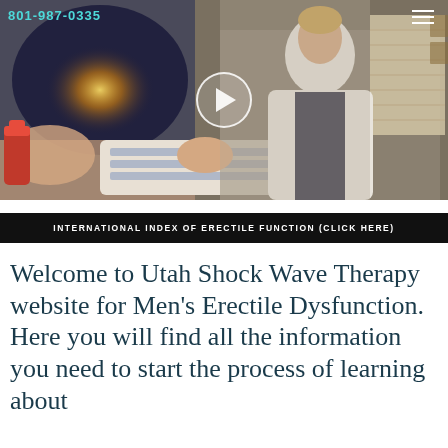[Figure (photo): Screenshot of a medical website showing a video thumbnail of a doctor in a white lab coat seated next to a medical device (shock wave therapy machine), with a play button overlay. The video also shows a decorative anatomical image on the left side. Phone number 801-987-0335 is displayed in teal/cyan text in the top-left corner, and a hamburger menu icon is in the top-right corner.]
INTERNATIONAL INDEX OF ERECTILE FUNCTION (CLICK HERE)
Welcome to Utah Shock Wave Therapy website for Men's Erectile Dysfunction. Here you will find all the information you need to start the process of learning about